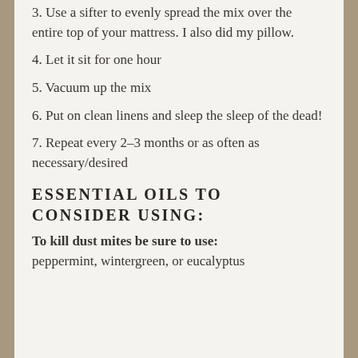3. Use a sifter to evenly spread the mix over the entire top of your mattress. I also did my pillow.
4. Let it sit for one hour
5. Vacuum up the mix
6. Put on clean linens and sleep the sleep of the dead!
7. Repeat every 2-3 months or as often as necessary/desired
ESSENTIAL OILS TO CONSIDER USING:
To kill dust mites be sure to use: peppermint, wintergreen, or eucalyptus